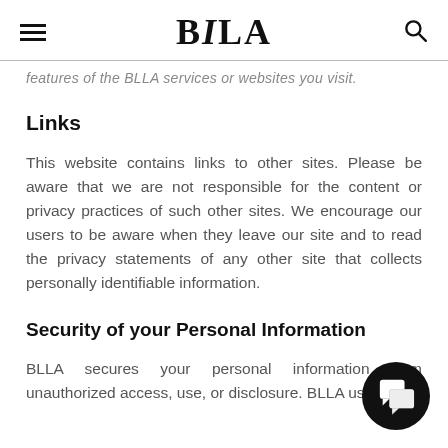BLLA
features of the BLLA services or websites you visit.
Links
This website contains links to other sites. Please be aware that we are not responsible for the content or privacy practices of such other sites. We encourage our users to be aware when they leave our site and to read the privacy statements of any other site that collects personally identifiable information.
Security of your Personal Information
BLLA secures your personal information from unauthorized access, use, or disclosure. BLLA uses the